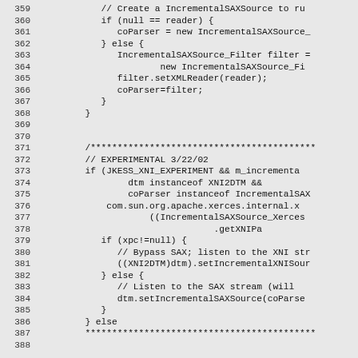Source code listing, lines 359-388, Java/XML parser code snippet
359  // Create a IncrementalSAXSource to ru
360  if (null == reader) {
361      coParser = new IncrementalSAXSource_
362  } else {
363      IncrementalSAXSource_Filter filter =
364              new IncrementalSAXSource_Fi
365      filter.setXMLReader(reader);
366      coParser=filter;
367  }
368  }
369  (blank)
370  (blank)
371  /******************************************
372  // EXPERIMENTAL 3/22/02
373  if (JKESS_XNI_EXPERIMENT && m_incrementa
374          dtm instanceof XNI2DTM &&
375          coParser instanceof IncrementalSAX
376      com.sun.org.apache.xerces.internal.x
377              ((IncrementalSAXSource_Xerces
378                          .getXNIPa
379      if (xpc!=null) {
380          // Bypass SAX; listen to the XNI str
381          ((XNI2DTM)dtm).setIncrementalXNISour
382      } else {
383          // Listen to the SAX stream (will
384          dtm.setIncrementalSAXSource(coParse
385      }
386  } else
387  *******************************************
388  (blank)